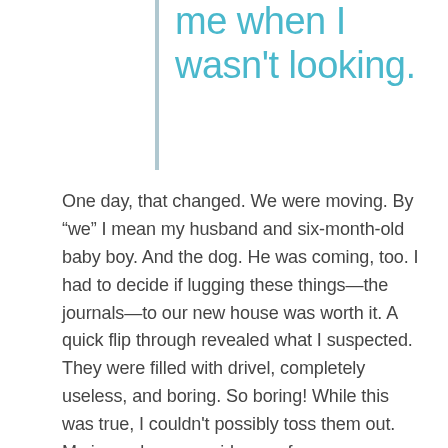me when I wasn't looking.
One day, that changed. We were moving. By “we” I mean my husband and six-month-old baby boy. And the dog. He was coming, too. I had to decide if lugging these things—the journals—to our new house was worth it. A quick flip through revealed what I suspected. They were filled with drivel, completely useless, and boring. So boring! While this was true, I couldn't possibly toss them out. My journals were evidence of my transformation. Change happened to me when I wasn't looking. While I was harried at work, stressed about money, and overjoyed with my new baby, I had become a completely different person from the one I'd hoped to be, one day. And that was OK. I had